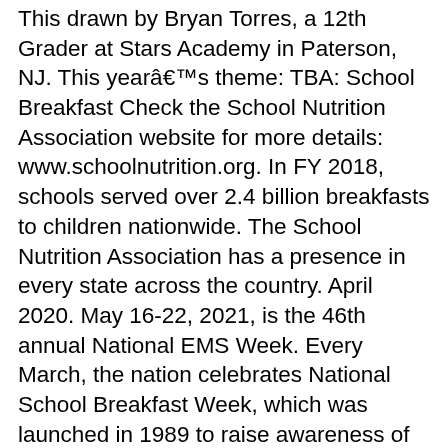This drawn by Bryan Torres, a 12th Grader at Stars Academy in Paterson, NJ. This yearâs theme: TBA: School Breakfast Check the School Nutrition Association website for more details: www.schoolnutrition.org. In FY 2018, schools served over 2.4 billion breakfasts to children nationwide. The School Nutrition Association has a presence in every state across the country. April 2020. May 16-22, 2021, is the 46th annual National EMS Week. Every March, the nation celebrates National School Breakfast Week, which was launched in 1989 to raise awareness of the availability of the School Breakfast Program to all children. Newspaper in Education Week The CDE encourages you to recognize the first week in March as Newspaper in Education Week. The week before, or the week afterâitâs up to you! Put together an NSBW marketing plan that will make your celebration a grand slam with these marketing and PR resources. National School Breakfast Week March 8-12, 2021. This gives us reason to celebrate! Make CSW your own and share your ideas with other schools using #CSW21. TASSP Making Middle School Matter. Hilton Austin Airport Hotel, Austin, TX. It